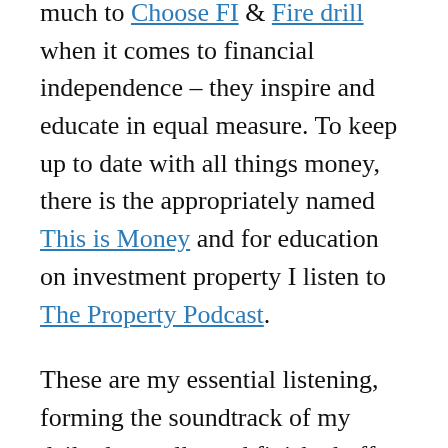much to Choose FI & Fire drill when it comes to financial independence – they inspire and educate in equal measure. To keep up to date with all things money, there is the appropriately named This is Money and for education on investment property I listen to The Property Podcast.
These are my essential listening, forming the soundtrack of my daily dog walks and finished off during the commute to work. But there is a long list of podcasts that collect on my phone and sit there unplayed week after week, because there just aren't enough hours in the day.
I all but...